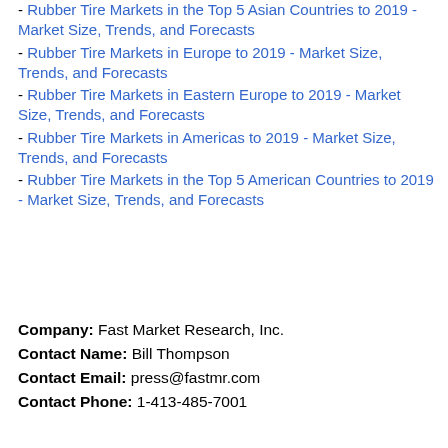- Rubber Tire Markets in the Top 5 Asian Countries to 2019 - Market Size, Trends, and Forecasts
- Rubber Tire Markets in Europe to 2019 - Market Size, Trends, and Forecasts
- Rubber Tire Markets in Eastern Europe to 2019 - Market Size, Trends, and Forecasts
- Rubber Tire Markets in Americas to 2019 - Market Size, Trends, and Forecasts
- Rubber Tire Markets in the Top 5 American Countries to 2019 - Market Size, Trends, and Forecasts
Company: Fast Market Research, Inc.
Contact Name: Bill Thompson
Contact Email: press@fastmr.com
Contact Phone: 1-413-485-7001